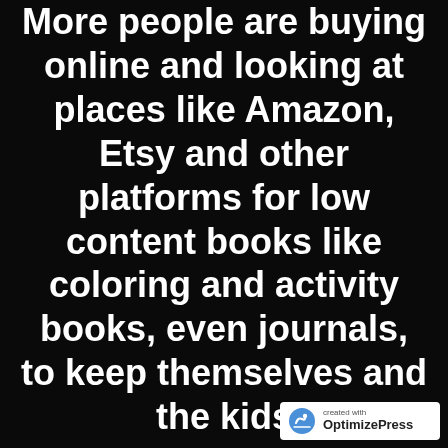More people are buying online and looking at places like Amazon, Etsy and other platforms for low content books like coloring and activity books, even journals, to keep themselves and the kids
[Figure (logo): OptimizePress badge with icon, 'created with' label, and 'OptimizePress' brand name]